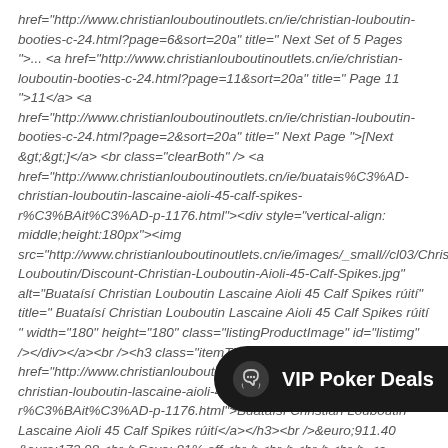href="http://www.christianlouboutinoutlets.cn/ie/christian-louboutin-booties-c-24.html?page=6&sort=20a" title=" Next Set of 5 Pages ">...</a> <a href="http://www.christianlouboutinoutlets.cn/ie/christian-louboutin-booties-c-24.html?page=11&sort=20a" title=" Page 11 ">11</a> <a href="http://www.christianlouboutinoutlets.cn/ie/christian-louboutin-booties-c-24.html?page=2&sort=20a" title=" Next Page ">[Next &gt;&gt;]</a> <br class="clearBoth" /> <a href="http://www.christianlouboutinoutlets.cn/ie/buatais%C3%AD-christian-louboutin-lascaine-aioli-45-calf-spikes-r%C3%BAit%C3%AD-p-1176.html"><div style="vertical-align: middle;height:180px"><img src="http://www.christianlouboutinoutlets.cn/ie/images/_small//cl03/Christian-Louboutin/Discount-Christian-Louboutin-Aioli-45-Calf-Spikes.jpg" alt="Buataísí Christian Louboutin Lascaine Aioli 45 Calf Spikes rúití" title=" Buataísí Christian Louboutin Lascaine Aioli 45 Calf Spikes rúití " width="180" height="180" class="listingProductImage" id="listimg" /></div></a><br /><h3 class="itemTitle"><a href="http://www.christianlouboutinoutlets.cn/ie/buatais%C3%AD-christian-louboutin-lascaine-aioli-45-calf-spikes-r%C3%BAit%C3%AD-p-1176.html">Buataísí Christian Louboutin Lascaine Aioli 45 Calf Spikes rúití</a></h3><br />&euro;911.40 &euro;172.98 <br />Save: 81% off <br /><br /><br /><br /> <a href="http://www.christianlouboutinoutlets.cn/ie/buatais%C3%AD-christian-louboutin-lascaine-figurina-140-suede-r%C3%BAit%C3%ADn-p-1290.html"><div style="vertical-align: middle;height:180px"><img src="http://www.christianlouboutinoutlets.cn/ie/images/_small//cl03/Christian-Louboutin/Discount-Christian-Loubout... alt="Buataísí Christian Louboutin Lasca... Buataísí Christian Louboutin Lascaine Fig... width="180" height="180" class="listingProductImage" id="listimg" /></div> </a><br /><h3 class="itemTitle"><a
[Figure (other): Dark overlay pill/button with a chat/headset icon and text 'VIP Poker Deals']